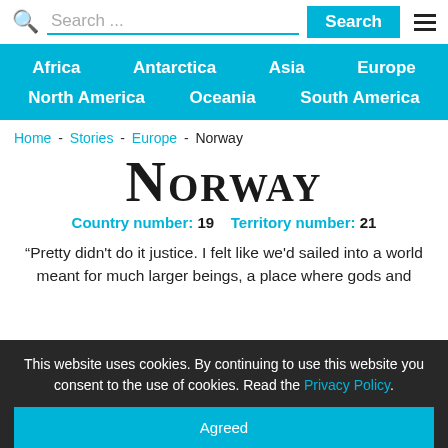Search ...
Africa  Antarctica  Asia  Europe  North America  Oceania  South America
Home - Stories - Europe - Norway
Norway
Country number: 19   Territory number: 21
“Pretty didn't do it justice. I felt like we'd sailed into a world meant for much larger beings, a place where gods and
This website uses cookies. By continuing to use this website you consent to the use of cookies. Read the Privacy Policy.
Agreed